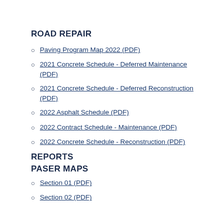ROAD REPAIR
Paving Program Map 2022 (PDF)
2021 Concrete Schedule - Deferred Maintenance (PDF)
2021 Concrete Schedule - Deferred Reconstruction (PDF)
2022 Asphalt Schedule (PDF)
2022 Contract Schedule - Maintenance (PDF)
2022 Concrete Schedule - Reconstruction (PDF)
REPORTS
PASER MAPS
Section 01 (PDF)
Section 02 (PDF)